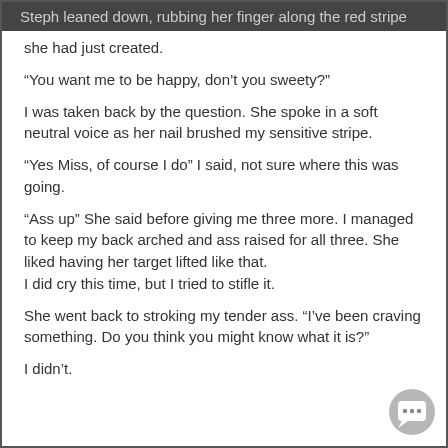Steph leaned down, rubbing her finger along the red stripe she had just created.
“You want me to be happy, don’t you sweety?”
I was taken back by the question. She spoke in a soft neutral voice as her nail brushed my sensitive stripe.
“Yes Miss, of course I do” I said, not sure where this was going.
“Ass up” She said before giving me three more. I managed to keep my back arched and ass raised for all three. She liked having her target lifted like that.
I did cry this time, but I tried to stifle it.
She went back to stroking my tender ass. “I’ve been craving something. Do you think you might know what it is?”
I didn’t.